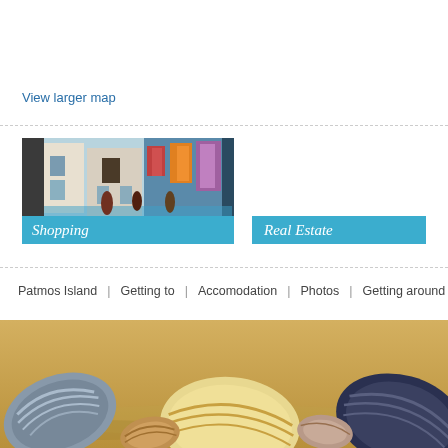View larger map
[Figure (photo): Shopping street scene with white buildings and colorful artwork/shops in a Mediterranean town, with a blue 'Shopping' label overlay]
Shopping
Real Estate
Patmos Island  |  Getting to  |  Accomodation  |  Photos  |  Getting around
[Figure (photo): Close-up photo of colorful seashells lying on sandy beach]